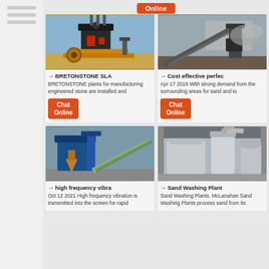[Figure (photo): Orange and grey industrial stone crushing/manufacturing plant machinery outdoors]
→ BRETONSTONE SLA
BRETONSTONE plants for manufacturing engineered stone are installed and
[Figure (photo): Industrial conveyor and crushing plant with dust/smoke, outdoor mining site]
→ Cost effective perfec
Apr 17 2019  With strong demand from the surrounding areas for sand and to
[Figure (photo): Blue industrial equipment with conveyor belt and cylindrical separator, outdoor construction site]
→ high frequency vibra
Oct 12 2021  High frequency vibration is transmitted into the screen for rapid
[Figure (photo): Grey industrial sand washing plant with large cylindrical equipment inside a building]
→ Sand Washing Plant
Sand Washing Plants. McLanahan Sand Washing Plants process sand from its